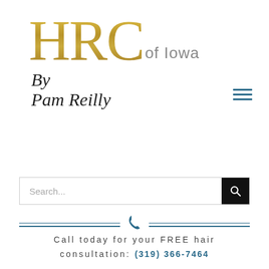[Figure (logo): HRC of Iowa By Pam Reilly logo — HRC in large gold gradient serif letters, 'of Iowa' in grey sans-serif, 'By Pam Reilly' in cursive script]
Search...
Call today for your FREE hair consultation: (319) 366-7464